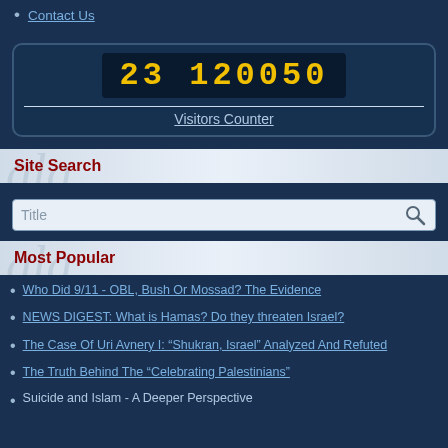Contact Us
[Figure (other): Visitors counter display showing 23120050]
Site Search
[Figure (screenshot): Search input box with magnifying glass icon]
Most Popular
Who Did 9/11 - OBL, Bush Or Mossad? The Evidence
NEWS DIGEST: What is Hamas? Do they threaten Israel?
The Case Of Uri Avnery I: “Shukran, Israel” Analyzed And Refuted
The Truth Behind The “Celebrating Palestinians”
Suicide and Islam - A Deeper Perspective